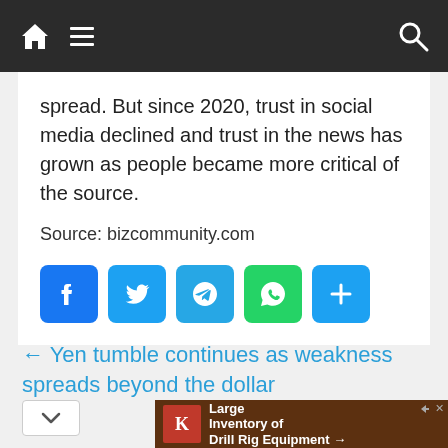Navigation bar with home, menu, and search icons
spread. But since 2020, trust in social media declined and trust in the news has grown as people became more critical of the source.
Source: bizcommunity.com
[Figure (infographic): Social share buttons: Facebook (blue), Twitter (light blue), Telegram (light blue), WhatsApp (green), Share/more (light blue)]
← Yen tumble continues as weakness spreads beyond the dollar
[Figure (infographic): Advertisement: King Oil Tools - Large Inventory of Drill Rig Equipment →]